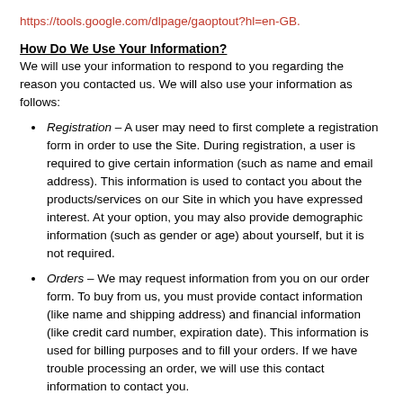https://tools.google.com/dlpage/gaoptout?hl=en-GB.
How Do We Use Your Information?
We will use your information to respond to you regarding the reason you contacted us. We will also use your information as follows:
Registration – A user may need to first complete a registration form in order to use the Site. During registration, a user is required to give certain information (such as name and email address). This information is used to contact you about the products/services on our Site in which you have expressed interest. At your option, you may also provide demographic information (such as gender or age) about yourself, but it is not required.
Orders – We may request information from you on our order form. To buy from us, you must provide contact information (like name and shipping address) and financial information (like credit card number, expiration date). This information is used for billing purposes and to fill your orders. If we have trouble processing an order, we will use this contact information to contact you.